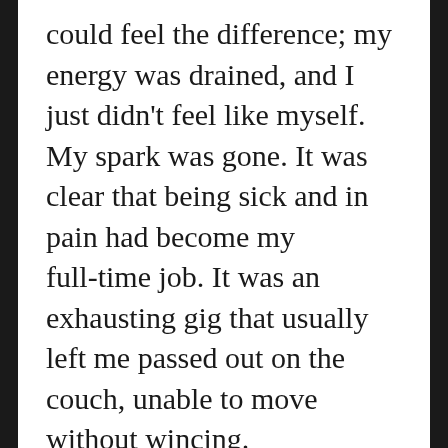could feel the difference; my energy was drained, and I just didn't feel like myself. My spark was gone. It was clear that being sick and in pain had become my full-time job. It was an exhausting gig that usually left me passed out on the couch, unable to move without wincing.
Thanks to the pain meds I was on, I quickly fell asleep on the couch waiting for my family to finish cleaning. It didn't take them long before they all came to join me in the living room. They did their best to